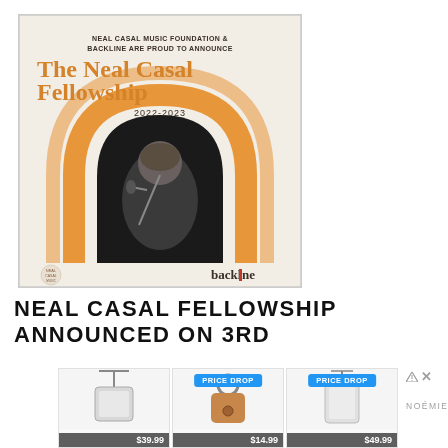[Figure (photo): Promotional poster for The Neal Casal Fellowship 2022-2023. Cream/beige background with orange arch graphic and black-and-white photo of musician performing with microphone. Text reads 'NEAL CASAL MUSIC FOUNDATION & BACKLINE ARE PROUD TO ANNOUNCE / The Neal Casal Fellowship / 2022-2023'. Bottom shows Neal Casal Foundation logo and Backline wordmark.]
NEAL CASAL FELLOWSHIP ANNOUNCED ON 3RD
[Figure (infographic): Advertisement row showing three product items with prices: phone crossbody strap $39.99, leather key fob $14.99 (PRICE DROP), phone case $49.99 (PRICE DROP). Noémie brand sponsor with ad designation triangle-X icon.]